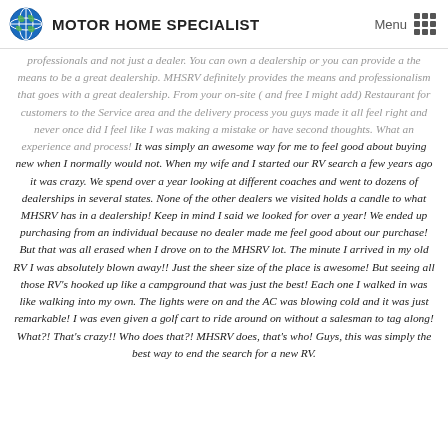MOTOR HOME SPECIALIST
professionals and not just a dealer. You can own a dealership or you can provide a the means to be a great dealership. MHSRV definitely provides the means and professionalism that goes with a great dealership. From your on-site ( and free I might add) Restaurant for customers to the Service area and the delivery process you guys made it all feel right and never once did I feel like I was making a mistake or have second thoughts. What an experience and process! It was simply an awesome way for me to feel good about buying new when I normally would not. When my wife and I started our RV search a few years ago it was crazy. We spend over a year looking at different coaches and went to dozens of dealerships in several states. None of the other dealers we visited holds a candle to what MHSRV has in a dealership! Keep in mind I said we looked for over a year! We ended up purchasing from an individual because no dealer made me feel good about our purchase! But that was all erased when I drove on to the MHSRV lot. The minute I arrived in my old RV I was absolutely blown away!! Just the sheer size of the place is awesome! But seeing all those RV's hooked up like a campground that was just the best! Each one I walked in was like walking into my own. The lights were on and the AC was blowing cold and it was just remarkable! I was even given a golf cart to ride around on without a salesman to tag along! What?! That's crazy!! Who does that?! MHSRV does, that's who! Guys, this was simply the best way to end the search for a new RV.